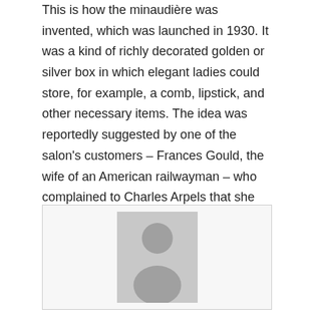This is how the minaudière was invented, which was launched in 1930. It was a kind of richly decorated golden or silver box in which elegant ladies could store, for example, a comb, lipstick, and other necessary items. The idea was reportedly suggested by one of the salon's customers – Frances Gould, the wife of an American railwayman – who complained to Charles Arpels that she had nowhere to store her cigarettes and other necessities. Her suggestions were heard and the minaudière quickly became a bestseller.
[Figure (photo): Placeholder image with a generic person silhouette icon on a grey background, inside a light bordered box.]